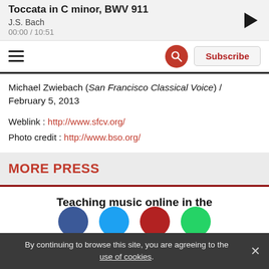Toccata in C minor, BWV 911 | J.S. Bach | 00:00 / 10:51
Michael Zwiebach (San Francisco Classical Voice) / February 5, 2013
Weblink : http://www.sfcv.org/
Photo credit : http://www.bso.org/
MORE PRESS
Teaching music online in the
By continuing to browse this site, you are agreeing to the use of cookies.